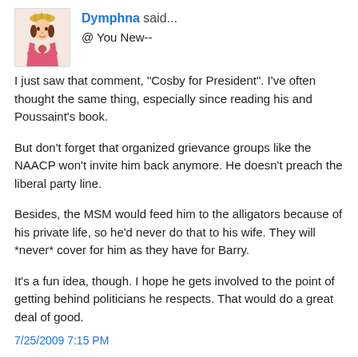Dymphna said...
@ You New--
I just saw that comment, "Cosby for President". I've often thought the same thing, especially since reading his and Poussaint's book.
But don't forget that organized grievance groups like the NAACP won't invite him back anymore. He doesn't preach the liberal party line.
Besides, the MSM would feed him to the alligators because of his private life, so he'd never do that to his wife. They will *never* cover for him as they have for Barry.
It's a fun idea, though. I hope he gets involved to the point of getting behind politicians he respects. That would do a great deal of good.
7/25/2009 7:15 PM